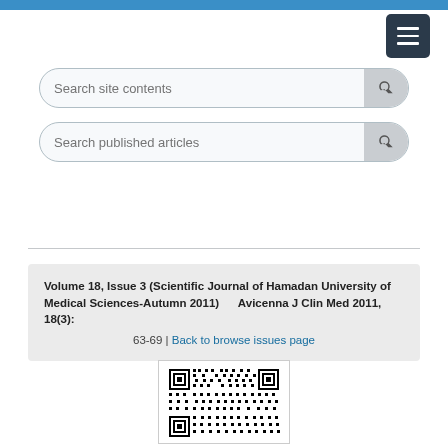Search site contents
Search published articles
Volume 18, Issue 3 (Scientific Journal of Hamadan University of Medical Sciences-Autumn 2011)   Avicenna J Clin Med 2011, 18(3): 63-69 | Back to browse issues page
[Figure (other): QR code for journal article DOI link]